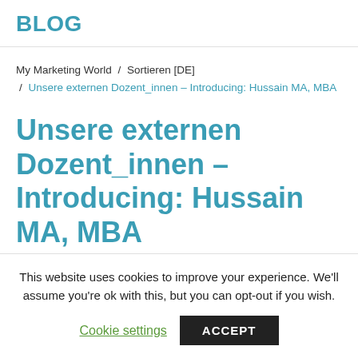BLOG
My Marketing World / Sortieren [DE] / Unsere externen Dozent_innen – Introducing: Hussain MA, MBA
Unsere externen Dozent_innen – Introducing: Hussain MA, MBA
Veröffentlicht am 20. September 2016
This website uses cookies to improve your experience. We'll assume you're ok with this, but you can opt-out if you wish.
Cookie settings   ACCEPT